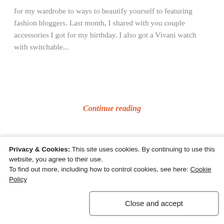for my wardrobe to ways to beautify yourself to featuring fashion bloggers. Last month, I shared with you couple accessories I got for my birthday. I also got a Vivani watch with switchable...
Continue reading
[Figure (illustration): Decorative divider with three button/smiley face circle icons on a dashed horizontal line]
[Figure (photo): Partial photo strip showing warm orange-red tones, likely a fashion blog image]
Privacy & Cookies: This site uses cookies. By continuing to use this website, you agree to their use.
To find out more, including how to control cookies, see here: Cookie Policy
Close and accept